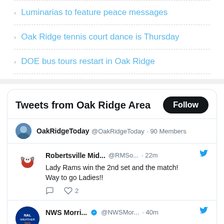Luminarias to feature peace messages
Oak Ridge tennis court dance is Thursday
DOE bus tours restart in Oak Ridge
[Figure (screenshot): Twitter widget showing 'Tweets from Oak Ridge Area' with Follow button, OakRidgeToday account with 90 Members, a tweet from Robertsville Mid... @RMSo... 22m saying 'Lady Rams win the 2nd set and the match! Way to go Ladies!!' with 2 likes, and a partial tweet from NWS Morri... @NWSMor... 40m]
OakRidgeToday @OakRidgeToday · 90 Members
Robertsville Mid... @RMSo... · 22m - Lady Rams win the 2nd set and the match! Way to go Ladies!!
NWS Morri... @NWSMor... · 40m